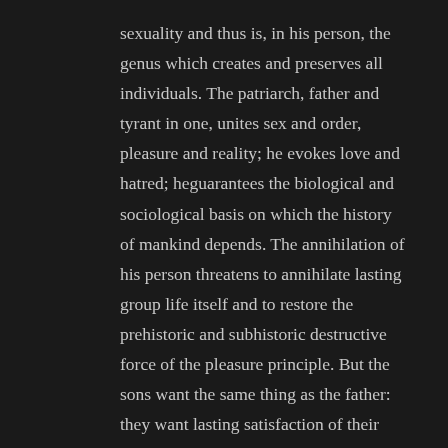sexuality and thus is, in his person, the genus which creates and preserves all individuals. The patriarch, father and tyrant in one, unites sex and order, pleasure and reality; he evokes love and hatred; heguarantees the biological and sociological basis on which the history of mankind depends. The annihilation of his person threatens to annihilate lasting group life itself and to restore the prehistoric and subhistoric destructive force of the pleasure principle. But the sons want the same thing as the father: they want lasting satisfaction of their needs. They can attain this objective only by repeating, in a new form, the order of domination which had controlled pleasure and thereby preserved the group. The father survives as the god in whose adoration the sinners repent so that they can continue to sin, while the new fathers secure those suppressions of pleasure which are necessary for preserving their rule and their organization of the group. The progress from domination by one to domination by several involves a "social spread" of pleasure and makes repression self-imposed in the ruling group itself: all its members have to obey the taboos if